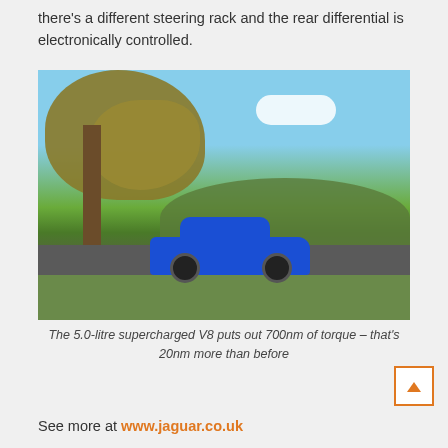there's a different steering rack and the rear differential is electronically controlled.
[Figure (photo): A blue Jaguar F-Pace SVR SUV driving on a road surrounded by autumn trees with golden/yellow foliage and green rolling hills in the background under a partly cloudy blue sky.]
The 5.0-litre supercharged V8 puts out 700nm of torque – that's 20nm more than before
See more at www.jaguar.co.uk